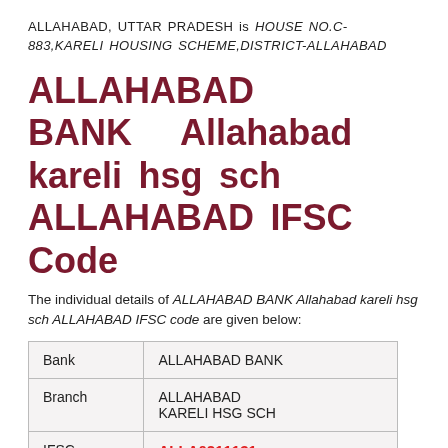ALLAHABAD, UTTAR PRADESH is HOUSE NO.C-883,KARELI HOUSING SCHEME,DISTRICT-ALLAHABAD
ALLAHABAD BANK Allahabad kareli hsg sch ALLAHABAD IFSC Code
The individual details of ALLAHABAD BANK Allahabad kareli hsg sch ALLAHABAD IFSC code are given below:
| Bank | ALLAHABAD BANK |
| Branch | ALLAHABAD KARELI HSG SCH |
| IFSC | ALLA0211131 |
| MICR | NA |
| Address | HOUSE NO.C- |